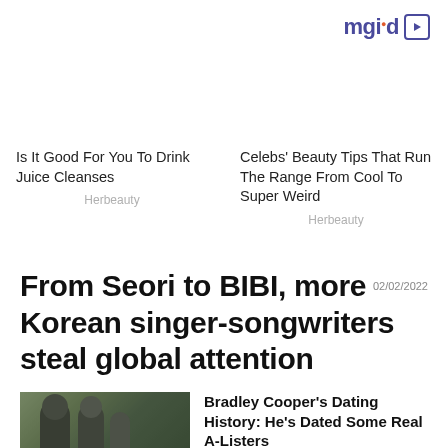[Figure (logo): mgid logo with play button icon, top right corner]
Is It Good For You To Drink Juice Cleanses
Herbeauty
Celebs' Beauty Tips That Run The Range From Cool To Super Weird
Herbeauty
From Seori to BIBI, more Korean singer-songwriters steal global attention
02/02/2022
[Figure (photo): A couple walking outdoors, man in dark t-shirt and cap, woman with sunglasses]
Bradley Cooper's Dating History: He's Dated Some Real A-Listers